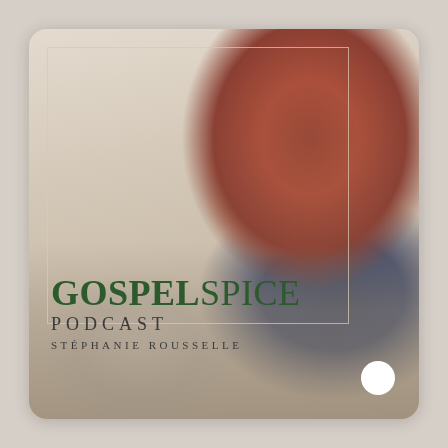[Figure (illustration): Podcast cover art for Gospel Spice Podcast by Stéphanie Rousselle. A smiling woman with auburn/red wavy hair poses with her hand near her chin, wearing a navy blue top. She sits at a desk in a warm, cream-toned room with plants in the background. A thin rectangular border is inset from the top-left. Text overlay shows 'GOSPEL SPICE' in dark green bold serif, 'PODCAST' in spaced uppercase, and 'STÉPHANIE ROUSSELLE' in small spaced caps. A white circle appears in the bottom-right corner.]